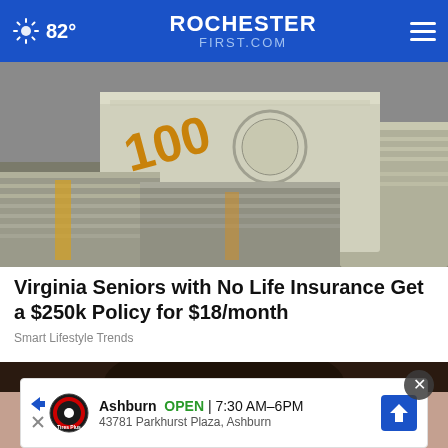82° ROCHESTERFIRST.COM
[Figure (photo): Stacks of bundled US $100 bills piled on a surface]
Virginia Seniors with No Life Insurance Get a $250k Policy for $18/month
Smart Lifestyle Trends
[Figure (photo): Partial portrait of a person, cropped at top of frame]
[Figure (other): Advertisement for Tires Plus auto service in Ashburn — OPEN 7:30 AM–6PM, 43781 Parkhurst Plaza, Ashburn]